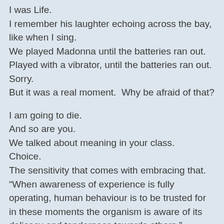I was Life.
I remember his laughter echoing across the bay, like when I sing.
We played Madonna until the batteries ran out.
Played with a vibrator, until the batteries ran out.
Sorry.
But it was a real moment.  Why be afraid of that?
I am going to die.
And so are you.
We talked about meaning in your class.
Choice.
The sensitivity that comes with embracing that.
“When awareness of experience is fully operating, human behaviour is to be trusted for in these moments the organism is aware of its delicacy and tenderness towards others.”